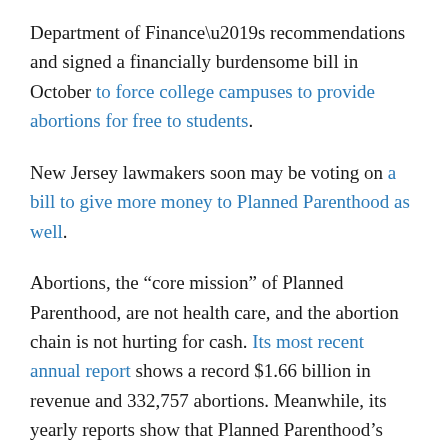Department of Finance's recommendations and signed a financially burdensome bill in October to force college campuses to provide abortions for free to students.
New Jersey lawmakers soon may be voting on a bill to give more money to Planned Parenthood as well.
Abortions, the “core mission” of Planned Parenthood, are not health care, and the abortion chain is not hurting for cash. Its most recent annual report shows a record $1.66 billion in revenue and 332,757 abortions. Meanwhile, its yearly reports show that Planned Parenthood’s patient numbers and actual health services are down.